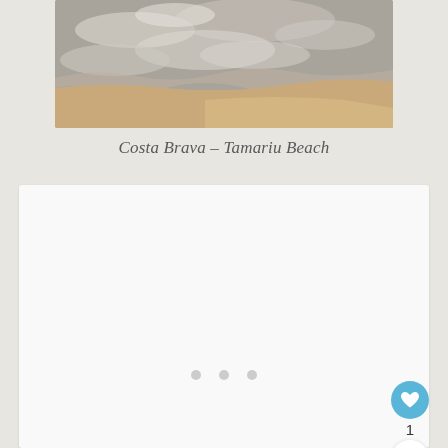[Figure (photo): Aerial or close-up photo of Costa Brava Tamariu Beach showing sparkling water and sandy shore]
Costa Brava – Tamariu Beach
[Figure (screenshot): White card panel with three pagination dots and social interaction buttons (heart/like with count 1, share button)]